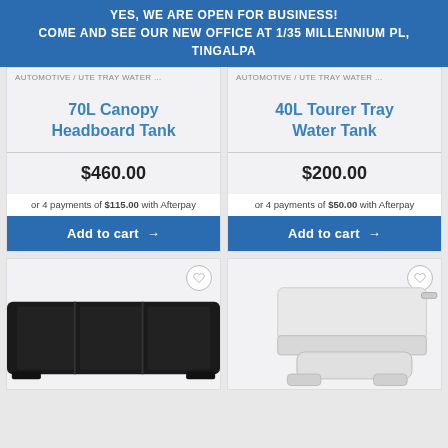YES, WE ARE OPEN FOR BUSINESS!
COME AND SEE OUR NEW OFFICE AT 1/35 MILLENNIUM PL, TINGALPA
AUTOMOTIVE / UTE TRAY WATER ...
AUTOMOTIVE / UTE TRAY WATER ...
70L Canopy Headboard Tank
40L Tourer Tray Water Tank
$460.00
$200.00
or 4 payments of $115.00 with Afterpay
or 4 payments of $50.00 with Afterpay
Add to cart →
Add to cart →
[Figure (photo): Black automotive water tank (70L Canopy Headboard Tank)]
[Figure (photo): White automotive water tank (40L Tourer Tray Water Tank)]